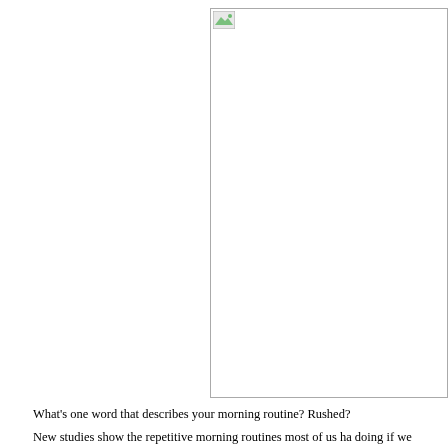[Figure (photo): A broken/missing image placeholder shown as a white rectangle with a small broken image icon in the top-left corner, bordered with a thin gray outline.]
What's one word that describes your morning routine? Rushed?
New studies show the repetitive morning routines most of us ha... doing if we desire flexible and open-minded thinking, according to the Creativity Killers." One study published in the journal Thinking and Rea... will more often turn up in our groggy and unfocused moments. These i...